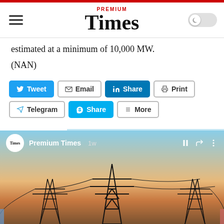Premium Times
estimated at a minimum of 10,000 MW.
(NAN)
[Figure (screenshot): Social media share buttons: Tweet, Email, Share (LinkedIn), Print, Telegram, Share (Skype), More]
[Figure (photo): Video embed from Premium Times showing electrical transmission towers/pylons against a sunset sky, with video controls overlay showing 'Premium Times 1w']